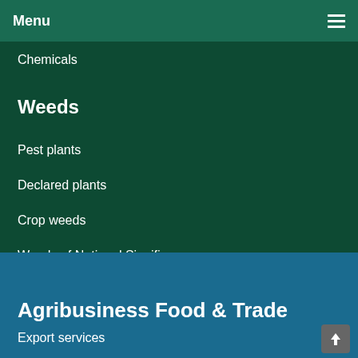Menu
Chemicals
Weeds
Pest plants
Declared plants
Crop weeds
Weeds of National Significance
Agribusiness Food & Trade
Export services